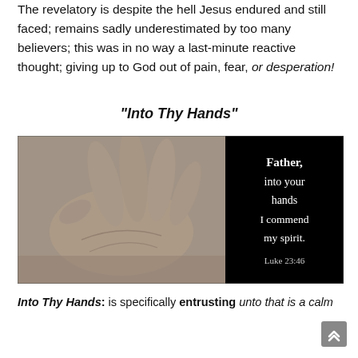The revelatory is despite the hell Jesus endured and still faced; remains sadly underestimated by too many believers; this was in no way a last-minute reactive thought; giving up to God out of pain, fear, or desperation!
“Into Thy Hands”
[Figure (photo): A sepia-toned photograph of an open upturned hand on the left side, with a black background on the right side containing white serif text: 'Father, into your hands I commend my spirit. Luke 23:46']
Into Thy Hands: is specifically entrusting unto that is a calm